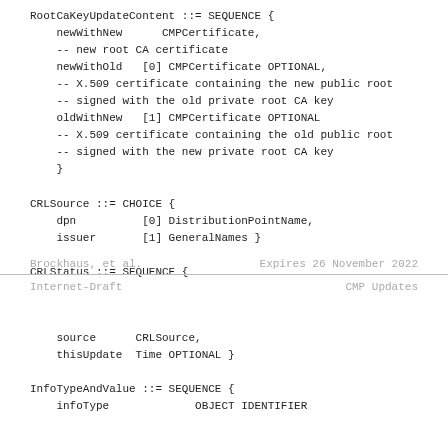Brockhaus, et al.        Expires 26 November 2022
Internet-Draft                        CMP Updates